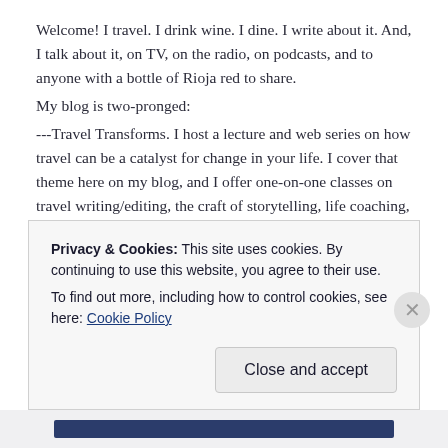Welcome! I travel. I drink wine. I dine. I write about it. And, I talk about it, on TV, on the radio, on podcasts, and to anyone with a bottle of Rioja red to share.
My blog is two-pronged:
---Travel Transforms. I host a lecture and web series on how travel can be a catalyst for change in your life. I cover that theme here on my blog, and I offer one-on-one classes on travel writing/editing, the craft of storytelling, life coaching, and more, all rooted in the power of travel. I also lecture at businesses and companies, extolling the virtues of travel and how it plays a vital role in work-life balance.
And, prong number two:
---Backyard Travel. I explore all the weird and wonderful ways you can travel in your own town, from sampling tongue tacos to swaying to
Privacy & Cookies: This site uses cookies. By continuing to use this website, you agree to their use.
To find out more, including how to control cookies, see here: Cookie Policy
Close and accept